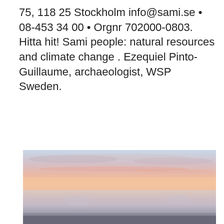75, 118 25 Stockholm info@sami.se • 08-453 34 00 • Orgnr 702000-0803. Hitta hit! Sami people: natural resources and climate change . Ezequiel Pinto-Guillaume, archaeologist, WSP Sweden.
[Figure (photo): A landscape photograph showing a misty sunset or sunrise over a flat, snowy or foggy terrain. The sky displays soft pink, orange, and peach tones with hazy cloud layers. The lower portion shows a pale lavender-grey fog or mist with a dark ground line visible at the bottom.]